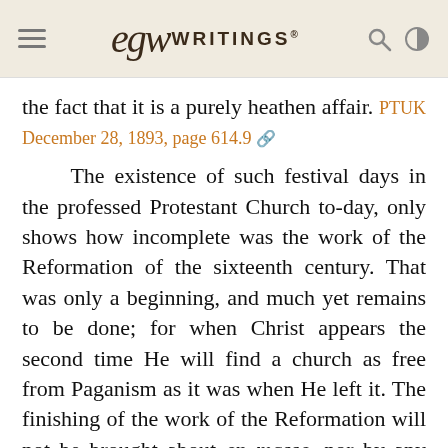EGW WRITINGS®
the fact that it is a purely heathen affair. PTUK December 28, 1893, page 614.9
The existence of such festival days in the professed Protestant Church to-day, only shows how incomplete was the work of the Reformation of the sixteenth century. That was only a beginning, and much yet remains to be done; for when Christ appears the second time He will find a church as free from Paganism as it was when He left it. The finishing of the work of the Reformation will not be brought about en masse, nor by any general or formal action, but by individuals taking the Bible alone as their guide, and daring to be counted peculiar for the sake of Christ. Who will be among